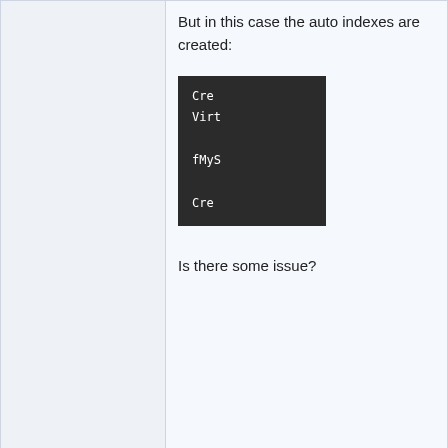But in this case the auto indexes are created:
[Figure (screenshot): Dark code block showing truncated code lines: Cre..., Virt..., fMyS..., Cre...]
Is there some issue?
Offline
ab
2015-09-17 #8:3
Administrator
You should not call the InitializeTable () directly...